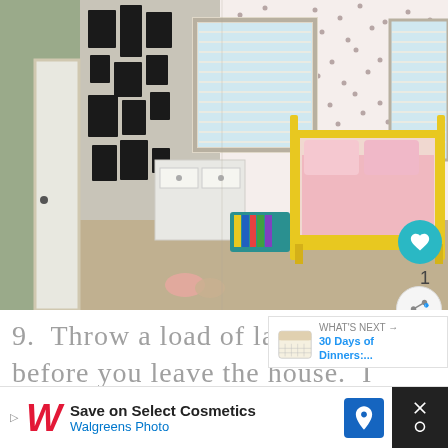[Figure (photo): Interior photo of a child's bedroom split into two views: left side shows a white door and wall with multiple black-framed pictures hung in a gallery arrangement; right side shows a yellow metal bed frame with pink floral bedding, stuffed animals, a teal storage crate with books, a white dresser, and pink polka-dot wallpaper. A window with white blinds is centered in the background.]
9.  Throw a load of laundry in before you leave the house.  I
[Figure (infographic): WHAT'S NEXT panel with calendar icon showing: 30 Days of Dinners:...]
[Figure (infographic): Advertisement: Save on Select Cosmetics – Walgreens Photo]